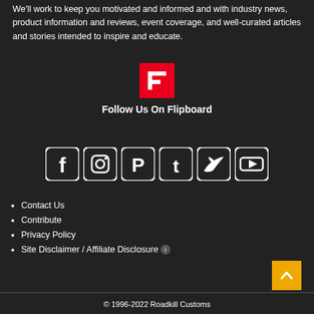We'll work to keep you motivated and informed and with industry news, product information and reviews, event coverage, and well-curated articles and stories intended to inspire and educate.
[Figure (logo): Flipboard red logo icon with white F shape]
Follow Us On Flipboard
[Figure (illustration): Social media icons: Facebook, Instagram, Pinterest, Tumblr, Twitter, YouTube]
Contact Us
Contribute
Privacy Policy
Site Disclaimer / Affiliate Disclosure
© 1996-2022 Roadkill Customs